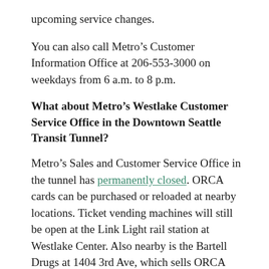upcoming service changes.
You can also call Metro’s Customer Information Office at 206-553-3000 on weekdays from 6 a.m. to 8 p.m.
What about Metro’s Westlake Customer Service Office in the Downtown Seattle Transit Tunnel?
Metro’s Sales and Customer Service Office in the tunnel has permanently closed. ORCA cards can be purchased or reloaded at nearby locations. Ticket vending machines will still be open at the Link Light rail station at Westlake Center. Also nearby is the Bartell Drugs at 1404 3rd Ave, which sells ORCA cards Monday through Friday 8 a.m. to 8 p.m., Saturday 9 a.m. to 6 p.m. and Sunday 10 a.m. to 5 p.m.